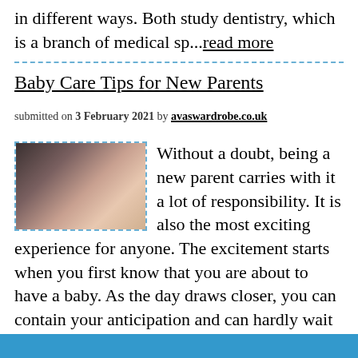in different ways. Both study dentistry, which is a branch of medical sp...read more
Baby Care Tips for New Parents
submitted on 3 February 2021 by avaswardrobe.co.uk
[Figure (photo): Close-up photo of baby feet and hands]
Without a doubt, being a new parent carries with it a lot of responsibility. It is also the most exciting experience for anyone. The excitement starts when you first know that you are about to have a baby. As the day draws closer, you can contain your anticipation and can hardly wait to see your chi...read more